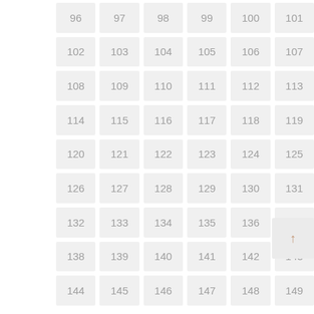[Figure (other): A 6-column grid of numbered cells from 96 to 149, with light gray background tiles. Each cell displays a number in light gray text. Row 9 (138-143) has an additional scroll-up button (↑) in a 7th position to the right. The grid shows numbers: 96-101, 102-107, 108-113, 114-119, 120-125, 126-131, 132-137, 138-143, 144-149.]